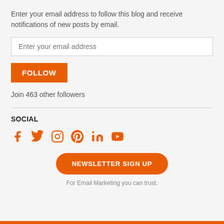Enter your email address to follow this blog and receive notifications of new posts by email.
Enter your email address
FOLLOW
Join 463 other followers
SOCIAL
[Figure (infographic): Social media icons: Facebook, Twitter, Instagram, Pinterest, LinkedIn, YouTube — all in orange]
NEWSLETTER SIGN UP
For Email Marketing you can trust.